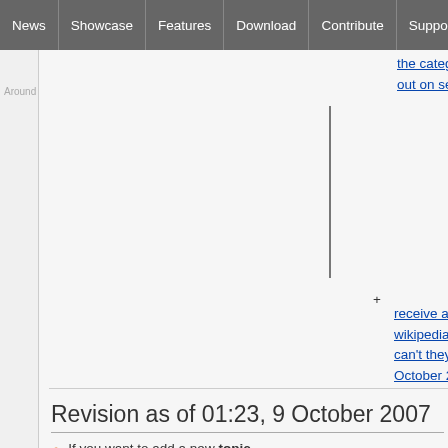News | Showcase | Features | Download | Contribute | Support
Around The World
the category function to be used for. I have pointed this out on several occasions only to receive a response such as (to paraphrase) "well this isn't wikipedia we do things differently here". Why on earth can't they create a list?! [[User:Lozzo|Lozzo]] 18:23, 8 October 2007 (MST)
Revision as of 01:23, 9 October 2007
If you want to add a new topic,